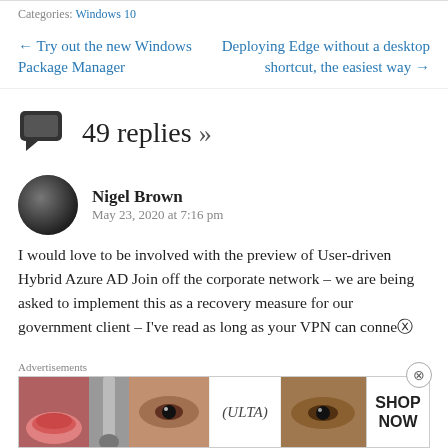Categories: Windows 10
← Try out the new Windows Package Manager
Deploying Edge without a desktop shortcut, the easiest way →
49 replies »
Nigel Brown
May 23, 2020 at 7:16 pm
I would love to be involved with the preview of User-driven Hybrid Azure AD Join off the corporate network – we are being asked to implement this as a recovery measure for our government client – I've read as long as your VPN can conne
Advertisements